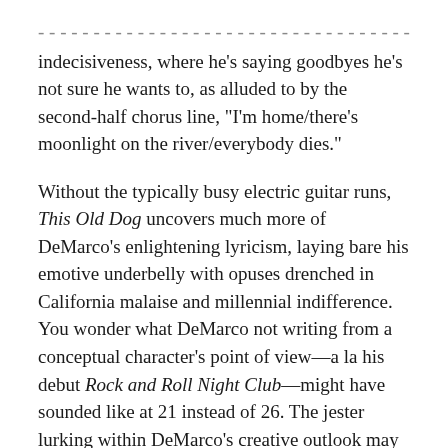[partial/cut-off line] ...The [obscured] of the song's [obscured] through his indecisiveness, where he's saying goodbyes he's not sure he wants to, as alluded to by the second-half chorus line, “I’m home/there’s moonlight on the river/everybody dies.”
Without the typically busy electric guitar runs, This Old Dog uncovers much more of DeMarco’s enlightening lyricism, laying bare his emotive underbelly with opuses drenched in California malaise and millennial indifference. You wonder what DeMarco not writing from a conceptual character’s point of view—a la his debut Rock and Roll Night Club—might have sounded like at 21 instead of 26. The jester lurking within DeMarco’s creative outlook may be maturing, but considering how seamless his transition to more heartfelt songwriting sounds, perhaps this old dog is ready to learn some new tricks.